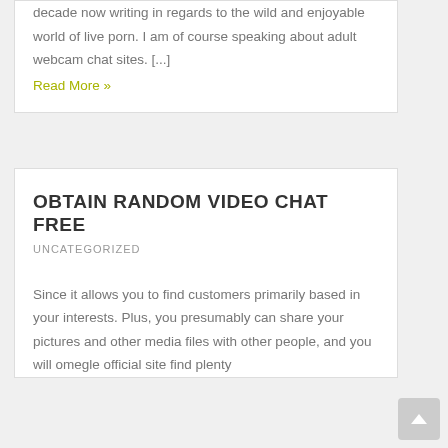decade now writing in regards to the wild and enjoyable world of live porn. I am of course speaking about adult webcam chat sites. [...]
Read More »
OBTAIN RANDOM VIDEO CHAT FREE
UNCATEGORIZED
Since it allows you to find customers primarily based in your interests. Plus, you presumably can share your pictures and other media files with other people, and you will omegle official site find plenty